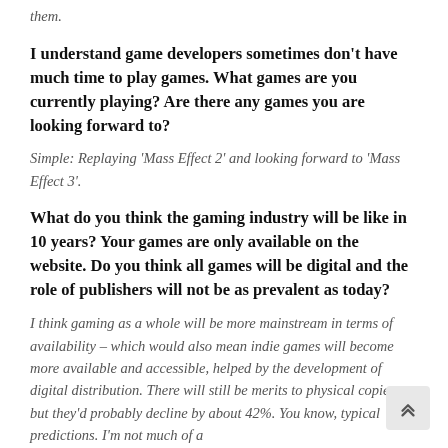them.
I understand game developers sometimes don't have much time to play games. What games are you currently playing? Are there any games you are looking forward to?
Simple: Replaying 'Mass Effect 2' and looking forward to 'Mass Effect 3'.
What do you think the gaming industry will be like in 10 years? Your games are only available on the website. Do you think all games will be digital and the role of publishers will not be as prevalent as today?
I think gaming as a whole will be more mainstream in terms of availability – which would also mean indie games will become more available and accessible, helped by the development of digital distribution. There will still be merits to physical copies, but they'd probably decline by about 42%. You know, typical predictions. I'm not much of a